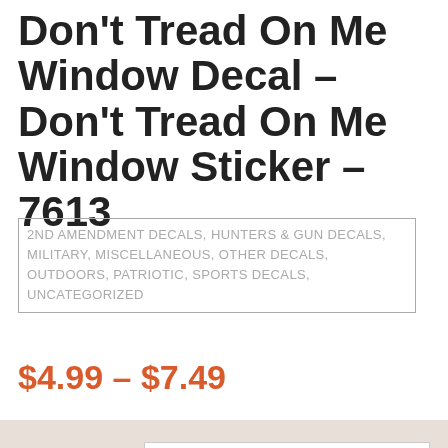Don't Tread On Me Window Decal – Don't Tread On Me Window Sticker – 7613
2ND AMENDMENT DECALS, HUNTERS & GUN DECALS, MILITARY, MISCELLANEOUS, OTHER DECALS, OUTDOORS, PATRIOTIC, SPORTS DECALS, UNCATEGORIZED
$4.99 – $7.49
COLOR: CHOOSE AN OPTION
SIZE: SMALL
Clear